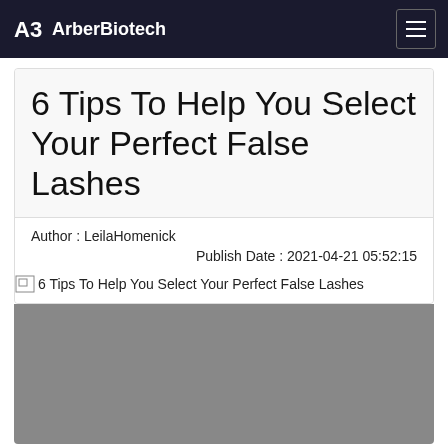ArberBiotech
6 Tips To Help You Select Your Perfect False Lashes
Author : LeilaHomenick
Publish Date : 2021-04-21 05:52:15
[Figure (photo): Broken image placeholder with alt text: 6 Tips To Help You Select Your Perfect False Lashes, followed by a gray image block representing the article's featured image]